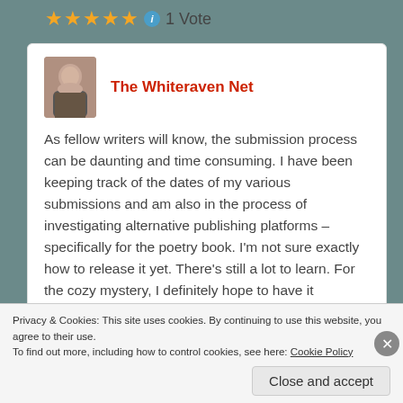★★★★★ ℹ 1 Vote
The Whiteraven Net
As fellow writers will know, the submission process can be daunting and time consuming. I have been keeping track of the dates of my various submissions and am also in the process of investigating alternative publishing platforms – specifically for the poetry book. I'm not sure exactly how to release it yet. There's still a lot to learn. For the cozy mystery, I definitely hope to have it published traditionally (which is ideally what I want for all…
Privacy & Cookies: This site uses cookies. By continuing to use this website, you agree to their use.
To find out more, including how to control cookies, see here: Cookie Policy
Close and accept